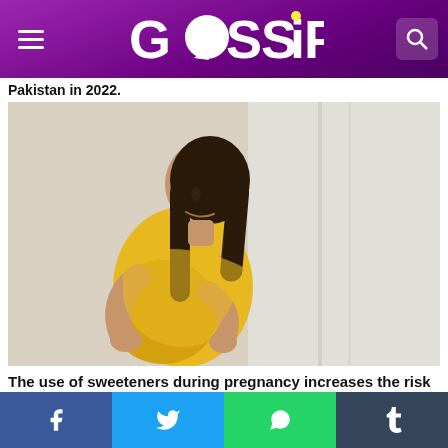GOSSIP
Pakistan in 2022.
[Figure (photo): Pregnant woman in yellow top holding her belly, standing in front of a light background]
The use of sweeteners during pregnancy increases the risk of obesity in the baby
[Figure (photo): Vegetables including cabbage and green herbs on a dark surface]
Social share bar: Facebook, Twitter, WhatsApp, Tumblr